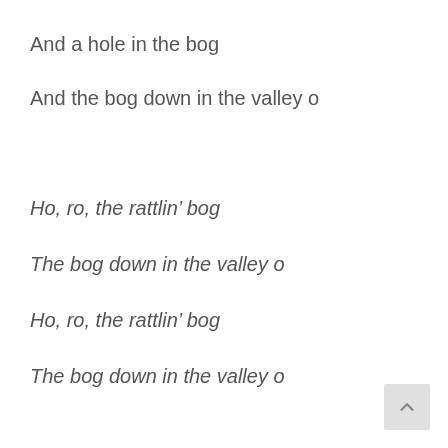And a hole in the bog
And the bog down in the valley o
Ho, ro, the rattlin’ bog
The bog down in the valley o
Ho, ro, the rattlin’ bog
The bog down in the valley o